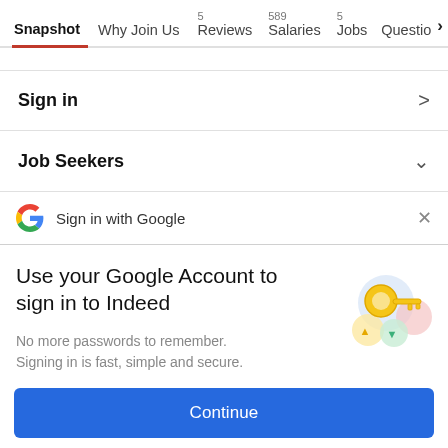Snapshot | Why Join Us | 5 Reviews | 589 Salaries | 5 Jobs | Questio >
Sign in >
Job Seekers v
Sign in with Google X
Use your Google Account to sign in to Indeed
No more passwords to remember. Signing in is fast, simple and secure.
Continue